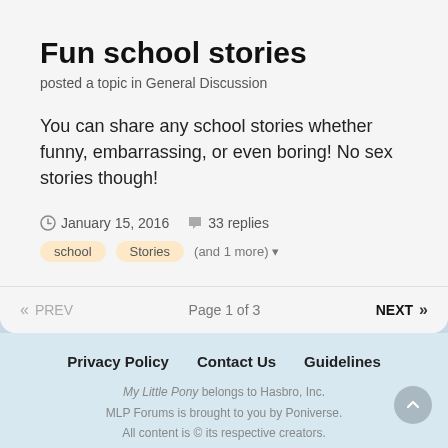Fun school stories
posted a topic in General Discussion
You can share any school stories whether funny, embarrassing, or even boring! No sex stories though!
January 15, 2016   33 replies
school   Stories   (and 1 more)
« PREV   Page 1 of 3   NEXT »
Privacy Policy   Contact Us   Guidelines
My Little Pony belongs to Hasbro, Inc.
MLP Forums is brought to you by Poniverse.
All content is © its respective creators.
Powered by Invision Community